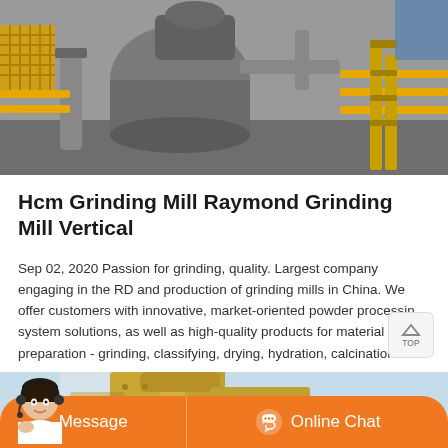[Figure (photo): Industrial grinding mill machinery with yellow steel structures, pipes, and mechanical equipment in a factory setting]
Hcm Grinding Mill Raymond Grinding Mill Vertical
Sep 02, 2020 Passion for grinding, quality. Largest company engaging in the RD and production of grinding mills in China. We offer customers with innovative, market-oriented powder processing system solutions, as well as high-quality products for material preparation - grinding, classifying, drying, hydration, calcination.
[Figure (photo): Yellow industrial grinding mill equipment photographed from below against a light blue sky]
Message
Online Chat